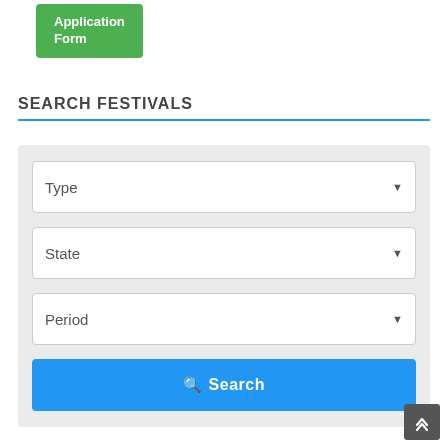[Figure (screenshot): Green 'Application Form' button at top left]
SEARCH FESTIVALS
[Figure (screenshot): Search form with three dropdowns (Type, State, Period) and a blue Search button, on a light grey background]